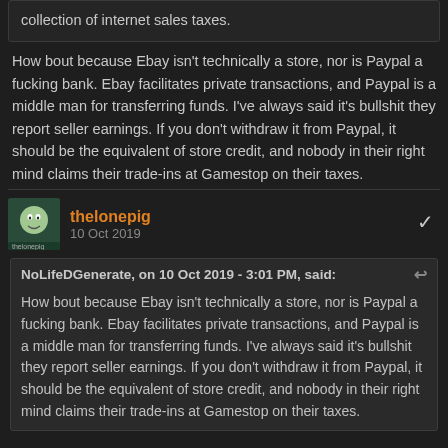collection of internet sales taxes.
How bout because Ebay isn't technically a store, nor is Paypal a fucking bank. Ebay facilitates private transactions, and Paypal is a middle man for transferring funds. I've always said it's bullshit they report seller earnings. If you don't withdraw it from Paypal, it should be the equivalent of store credit, and nobody in their right mind claims their trade-ins at Gamestop on their taxes.
thelonepig
10 Oct 2019
NoLifeDGenerate, on 10 Oct 2019 - 3:01 PM, said:
How bout because Ebay isn't technically a store, nor is Paypal a fucking bank. Ebay facilitates private transactions, and Paypal is a middle man for transferring funds. I've always said it's bullshit they report seller earnings. If you don't withdraw it from Paypal, it should be the equivalent of store credit, and nobody in their right mind claims their trade-ins at Gamestop on their taxes.
I didn't see any of those arguments in his post. Take a breath and try to realize that people aren't attacking you.